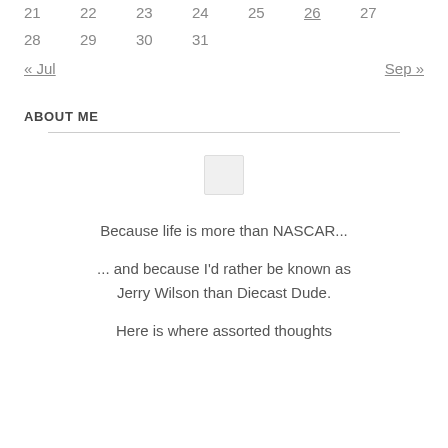| 21 | 22 | 23 | 24 | 25 | 26 | 27 |
| 28 | 29 | 30 | 31 |  |  |  |
« Jul    Sep »
ABOUT ME
[Figure (illustration): Small placeholder image box]
Because life is more than NASCAR...

... and because I'd rather be known as Jerry Wilson than Diecast Dude.

Here is where assorted thoughts